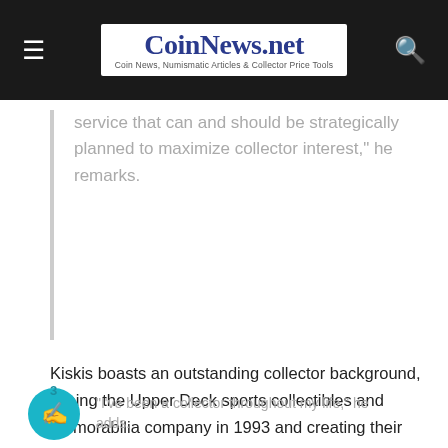CoinNews.net — Coin News, Numismatic Articles & Collector Price Tools
service that can and should be strategically planned to maximize collector interest," he remarks.
Kiskis boasts an outstanding collector background, joining the Upper Deck sports collectibles and memorabilia company in 1993 and creating their first Product Development Team. The Los Angeles native grew up near PCGS' Corporate Headquarters in Santa Ana and prizes a pair of collectible Adidas shoes signed by late Los Angeles Lakers legend Kobe Bryant.
"I've been a collector throughout my life," he adds.